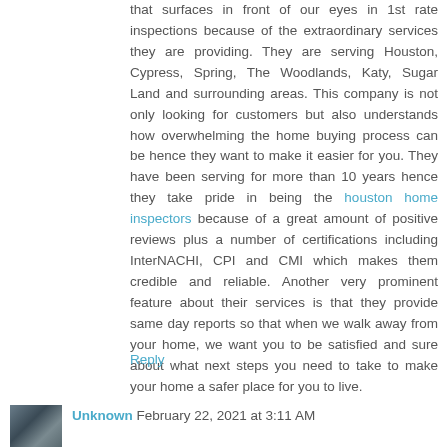that surfaces in front of our eyes in 1st rate inspections because of the extraordinary services they are providing. They are serving Houston, Cypress, Spring, The Woodlands, Katy, Sugar Land and surrounding areas. This company is not only looking for customers but also understands how overwhelming the home buying process can be hence they want to make it easier for you. They have been serving for more than 10 years hence they take pride in being the houston home inspectors because of a great amount of positive reviews plus a number of certifications including InterNACHI, CPI and CMI which makes them credible and reliable. Another very prominent feature about their services is that they provide same day reports so that when we walk away from your home, we want you to be satisfied and sure about what next steps you need to take to make your home a safer place for you to live.
Reply
Unknown February 22, 2021 at 3:11 AM